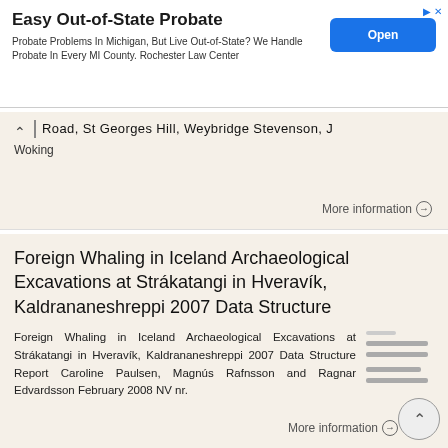[Figure (other): Advertisement banner for 'Easy Out-of-State Probate' by Rochester Law Center with an Open button]
Road, St Georges Hill, Weybridge Stevenson, J Woking
More information →
Foreign Whaling in Iceland Archaeological Excavations at Strákatangi in Hveravík, Kaldrananeshreppi 2007 Data Structure
Foreign Whaling in Iceland Archaeological Excavations at Strákatangi in Hveravík, Kaldrananeshreppi 2007 Data Structure Report Caroline Paulsen, Magnús Rafnsson and Ragnar Edvardsson February 2008 NV nr.
More information →